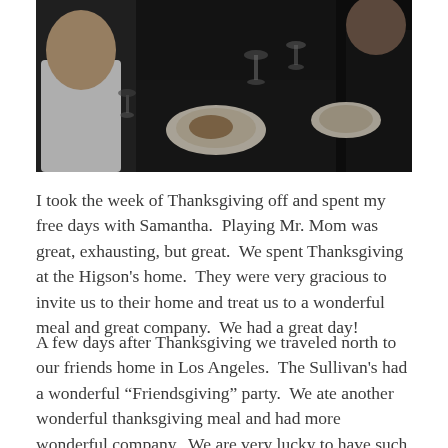[Figure (photo): A dark photograph of people seated around a dinner table with plates of food, wine glasses, and table settings. A man in a white shirt is visible on the left side.]
I took the week of Thanksgiving off and spent my free days with Samantha.  Playing Mr. Mom was great, exhausting, but great.  We spent Thanksgiving at the Higson's home.  They were very gracious to invite us to their home and treat us to a wonderful meal and great company.  We had a great day!
A few days after Thanksgiving we traveled north to our friends home in Los Angeles.  The Sullivan's had a wonderful “Friendsgiving” party.  We ate another wonderful thanksgiving meal and had more wonderful company.  We are very lucky to have such good friends.  That about wraps up November.  Sorry this update was so late, but if you think